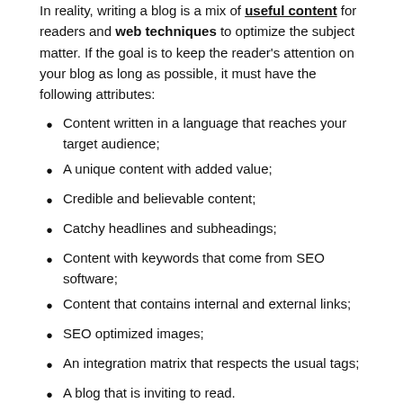In reality, writing a blog is a mix of useful content for readers and web techniques to optimize the subject matter. If the goal is to keep the reader's attention on your blog as long as possible, it must have the following attributes:
Content written in a language that reaches your target audience;
A unique content with added value;
Credible and believable content;
Catchy headlines and subheadings;
Content with keywords that come from SEO software;
Content that contains internal and external links;
SEO optimized images;
An integration matrix that respects the usual tags;
A blog that is inviting to read.